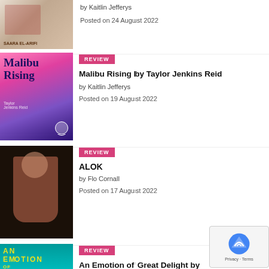[Figure (photo): Partial book cover of a novel by Saara El-Arifi at top of page]
by Kaitlin Jefferys
Posted on 24 August 2022
[Figure (photo): Book cover of Malibu Rising by Taylor Jenkins Reid with pink and purple gradient]
REVIEW
Malibu Rising by Taylor Jenkins Reid
by Kaitlin Jefferys
Posted on 19 August 2022
[Figure (photo): Photo of ALOK performer in pink shirt against dark background]
REVIEW
ALOK
by Flo Cornall
Posted on 17 August 2022
[Figure (photo): Book cover of An Emotion of Great Delight by Tahereh Mafi with teal background and yellow text]
REVIEW
An Emotion of Great Delight by Tahereh Mafi
by Kaitlin Jefferys
[Figure (other): reCAPTCHA Privacy Terms overlay widget]